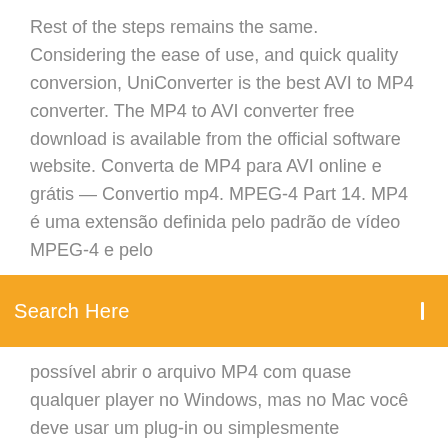Rest of the steps remains the same. Considering the ease of use, and quick quality conversion, UniConverter is the best AVI to MP4 converter. The MP4 to AVI converter free download is available from the official software website. Converta de MP4 para AVI online e grátis — Convertio mp4. MPEG-4 Part 14. MP4 é uma extensão definida pelo padrão de vídeo MPEG-4 e pelo
[Figure (other): Orange search bar with text 'Search Here' and a small icon on the right]
possível abrir o arquivo MP4 com quase qualquer player no Windows, mas no Mac você deve usar um plug-in ou simplesmente converter o arquivo para outro formato. MP4 to AVI Converter - MP4 to AVI | CloudConvert MP4 to AVI Converter. CloudConvert converts your video files online. Amongst many others, we support MP4, WEBM and AVI. You can use the options to control video resolution, quality and file size. MP4 to AVI: convert mp4 to avi for free online
Как сконвертировать MP4, MOV, WMV, FLV, MPEG в AVI,